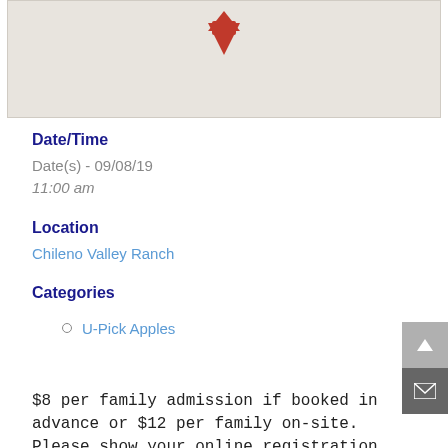[Figure (map): Map screenshot showing a location marker (red downward-pointing triangle/pin) on a light grey map background]
Date/Time
Date(s) - 09/08/19
11:00 am
Location
Chileno Valley Ranch
Categories
U-Pick Apples
$8 per family admission if booked in advance or $12 per family on-site. Please show your online registration